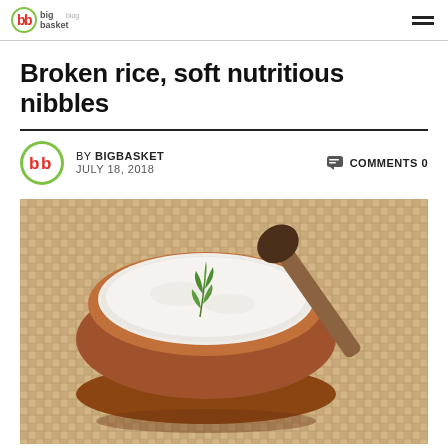bigbasket blog
Broken rice, soft nutritious nibbles
BY BIGBASKET   JULY 18, 2018   COMMENTS 0
[Figure (photo): A clay bowl filled with broken rice/semolina topped with a green herb sprig, next to a wooden spoon, on a woven mat background.]